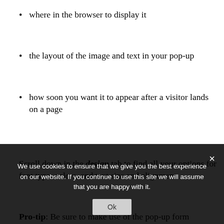where in the browser to display it
the layout of the image and text in your pop-up
how soon you want it to appear after a visitor lands on a page
Scroll down in the design tab to find all your options for font type, colors, and text size and alignment.
Pro-tip: Be sure to make use of the pop-up form builder’s desktop and mobile view so that your
We use cookies to ensure that we give you the best experience on our website. If you continue to use this site we will assume that you are happy with it.